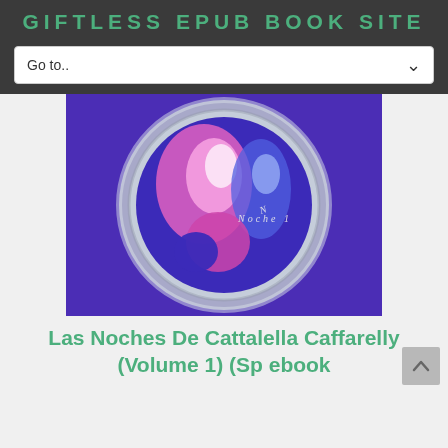GIFTLESS EPUB BOOK SITE
Go to..
[Figure (illustration): Book cover for 'Las Noches De Cattalella Caffarelly Volume 1' showing an abstract circular design with pink and purple glowing shapes on a deep purple/blue background, with text 'Noche 1' visible on the cover.]
Las Noches De Cattalella Caffarelly (Volume 1) (Sp ebook